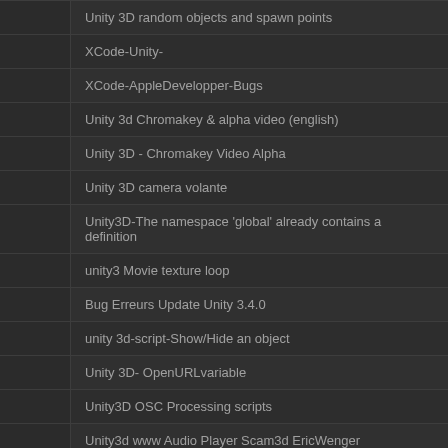|  | Unity 3D random objects and spawn points |
|  | XCode-Unity- |
|  | XCode-AppleDevelopper-Bugs |
|  | Unity 3d Chromakey & alpha video (english) |
|  | Unity 3D - Chromakey Video Alpha |
|  | Unity 3D camera volante |
|  | Unity3D-The namespace 'global' already contains a definition |
|  | unity3 Movie texture loop |
|  | Bug Erreurs Update Unity 3.4.0 |
|  | unity 3d-script-Show/Hide an object |
|  | Unity 3D- OpenURLvariable |
|  | Unity3D OSC Processing scripts |
|  | Unity3d www Audio Player Scam3d EricWenger |
|  | Unity3d www Video Player Scripts Scam3d |